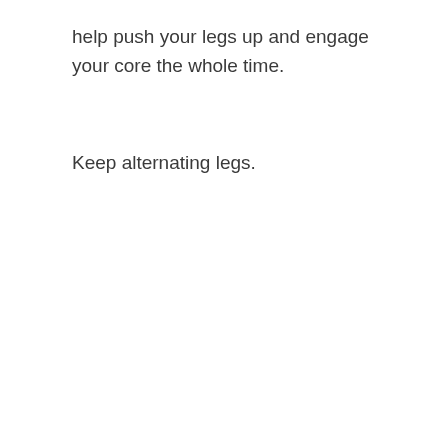help push your legs up and engage your core the whole time.
Keep alternating legs.